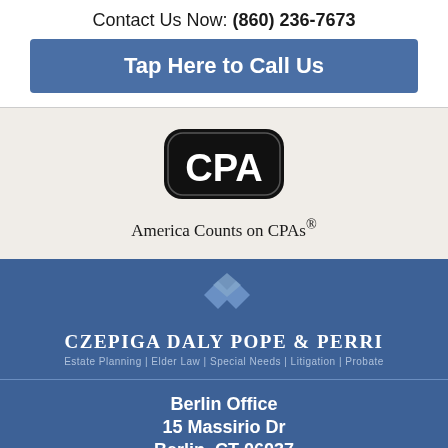Contact Us Now: (860) 236-7673
Tap Here to Call Us
[Figure (logo): CPA logo with black rounded rectangle background and white CPA text, with tagline America Counts on CPAs®]
[Figure (logo): Czepiga Daly Pope & Perri law firm logo with diamond shapes and subtitle: Estate Planning | Elder Law | Special Needs | Litigation | Probate]
Berlin Office
15 Massirio Dr
Berlin, CT 06037

Simsbury Office